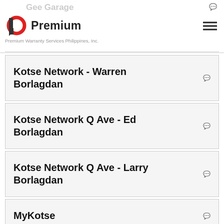Gee Garage
[Figure (logo): Premium Warranty Services Philippines, Inc. logo with red circle P icon and bold Premium text]
Kotse Network - Warren Borlagdan
Kotse Network Q Ave - Ed Borlagdan
Kotse Network Q Ave - Larry Borlagdan
MyKotse